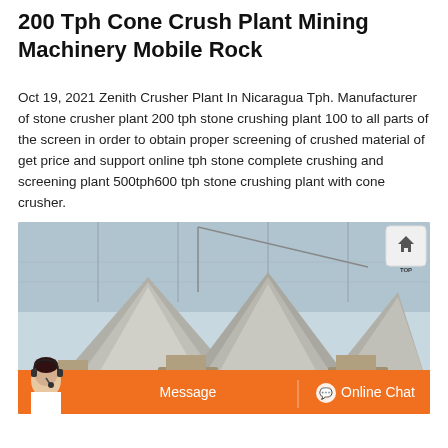200 Tph Cone Crush Plant Mining Machinery Mobile Rock
Oct 19, 2021 Zenith Crusher Plant In Nicaragua Tph. Manufacturer of stone crusher plant 200 tph stone crushing plant 100 to all parts of the screen in order to obtain proper screening of crushed material of get price and support online tph stone complete crushing and screening plant 500tph600 tph stone crushing plant with cone crusher.
[Figure (photo): Photograph of a large cone crusher plant / mining machinery showing multiple conical rock piles, heavy industrial equipment and machinery in an outdoor setting. An orange chat bar overlays the bottom with a customer service representative, Message button, and Online Chat button.]